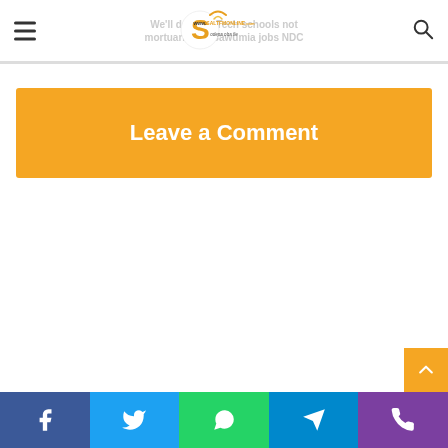We'll develop Tech schools not mortuaries — Bawumia jobs NDC
[Figure (logo): Salt FM Online logo with www.saltfmonline.com and tagline 'odepa oba fie']
Leave a Comment
Social share bar: Facebook, Twitter, WhatsApp, Telegram, Phone